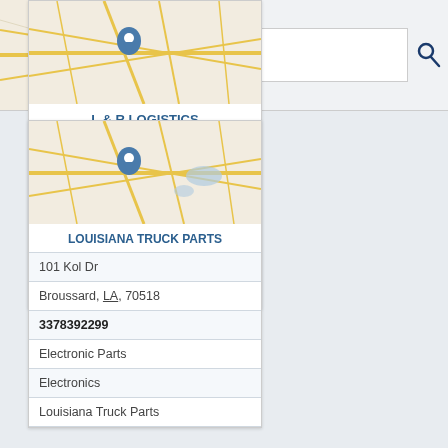[Figure (screenshot): Map with location pin for L & R Logistics]
L & R LOGISTICS
1107 Wall Rd
Broussard, LA, 70518
3373743795
Kad Meche Trucking Inc
Logistics Companies
Trucking Companies
[Figure (screenshot): Map with location pin for Louisiana Truck Parts]
LOUISIANA TRUCK PARTS
101 Kol Dr
Broussard, LA, 70518
3378392299
Electronic Parts
Electronics
Louisiana Truck Parts